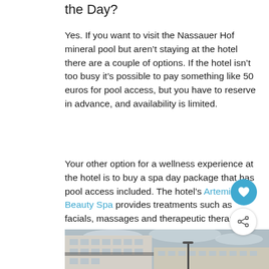the Day?
Yes. If you want to visit the Nassauer Hof mineral pool but aren't staying at the hotel there are a couple of options. If the hotel isn't too busy it's possible to pay something like 50 euros for pool access, but you have to reserve in advance, and availability is limited.
Your other option for a wellness experience at the hotel is to buy a spa day package that has pool access included. The hotel's Artemis Beauty Spa provides treatments such as facials, massages and therapeutic therapies.
[Figure (photo): Exterior photograph of a multi-storey hotel building (Nassauer Hof) with a cloudy sky background, showing facade with many windows and a street lamp in foreground.]